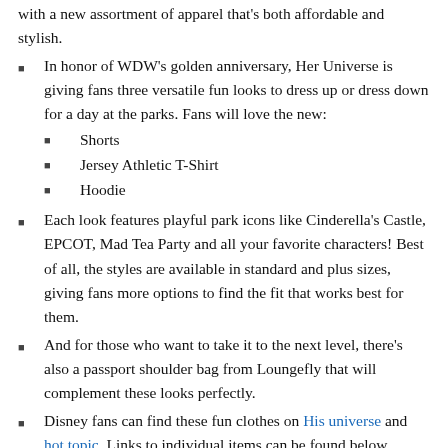with a new assortment of apparel that's both affordable and stylish.
In honor of WDW's golden anniversary, Her Universe is giving fans three versatile fun looks to dress up or dress down for a day at the parks. Fans will love the new: Shorts, Jersey Athletic T-Shirt, Hoodie
Shorts
Jersey Athletic T-Shirt
Hoodie
Each look features playful park icons like Cinderella's Castle, EPCOT, Mad Tea Party and all your favorite characters! Best of all, the styles are available in standard and plus sizes, giving fans more options to find the fit that works best for them.
And for those who want to take it to the next level, there's also a passport shoulder bag from Loungefly that will complement these looks perfectly.
Disney fans can find these fun clothes on His universe and hot topic. Links to individual items can be found below.